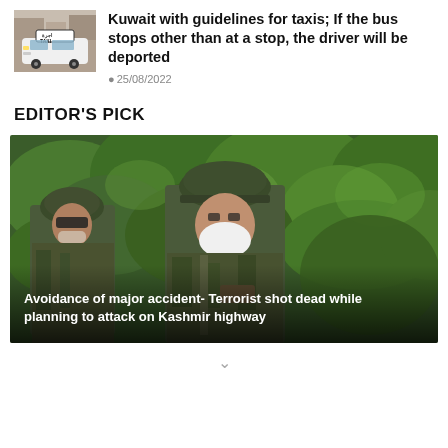[Figure (photo): Taxi with Arabic text 'Ajra' sign on roof in Kuwait]
Kuwait with guidelines for taxis; If the bus stops other than at a stop, the driver will be deported
25/08/2022
EDITOR'S PICK
[Figure (photo): Two soldiers in camouflage uniforms and helmets, one wearing a face mask, standing in front of green foliage on Kashmir highway. Text overlay reads: Avoidance of major accident- Terrorist shot dead while planning to attack on Kashmir highway]
Avoidance of major accident- Terrorist shot dead while planning to attack on Kashmir highway